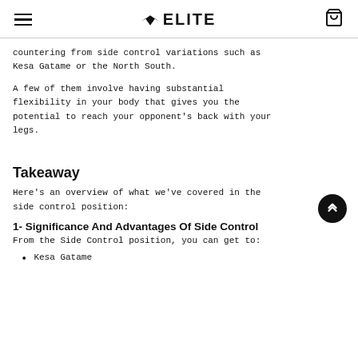ELITE
countering from side control variations such as Kesa Gatame or the North South.
A few of them involve having substantial flexibility in your body that gives you the potential to reach your opponent's back with your legs.
Takeaway
Here's an overview of what we've covered in the side control position:
1- Significance And Advantages Of Side Control
From the Side Control position, you can get to:
Kesa Gatame